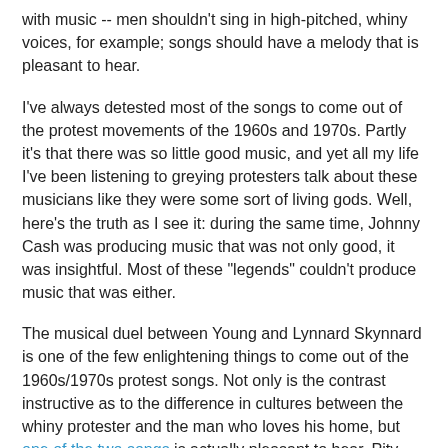with music -- men shouldn't sing in high-pitched, whiny voices, for example; songs should have a melody that is pleasant to hear.
I've always detested most of the songs to come out of the protest movements of the 1960s and 1970s. Partly it's that there was so little good music, and yet all my life I've been listening to greying protesters talk about these musicians like they were some sort of living gods. Well, here's the truth as I see it: during the same time, Johnny Cash was producing music that was not only good, it was insightful. Most of these "legends" couldn't produce music that was either.
The musical duel between Young and Lynnard Skynnard is one of the few enlightening things to come out of the 1960s/1970s protest songs. Not only is the contrast instructive as to the difference in cultures between the whiny protester and the man who loves his home, but one of the two songs is actually pleasant to hear. Pity more of these "legendary" rock musicians couldn't manage that!